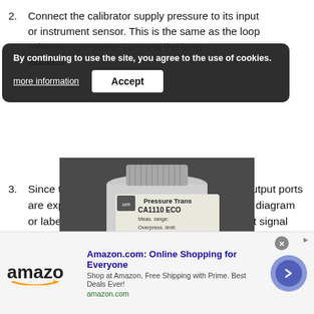2. Connect the calibrator supply pressure to its input or instrument sensor. This is the same as the loop reference pressure. Connect the loop isolated
3. Since the connecting wires are removed, the output ports are exposed. Check the transmitter connection diagram or label to ensure proper functioning and output signal detection.
[Figure (photo): Close-up photo of a pressure transmitter label showing 'Pressure Trans... CA1110 ECO', Meas. range, Overpress. limit, Power supply, and Output fields. The Output section with +1 -2 terminals is circled in yellow.]